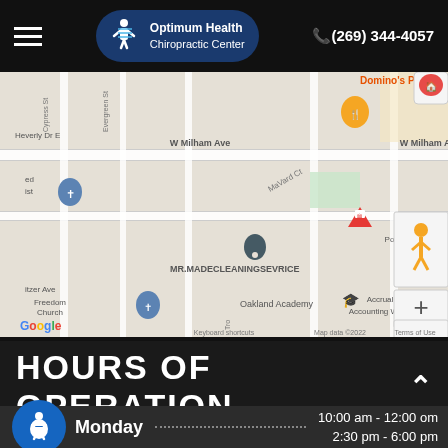Optimum Health Chiropractic Center | (269) 344-4057
[Figure (map): Google Maps screenshot showing area around Portage Fire Dept Sta. 2, Oakland Academy, W Milham Ave, MR. MADE CLEANING SERVICE, Freedom Church, Accrual Accounting World, US Postal Service, Domino's Pizza. Map data ©2022.]
HOURS OF OPERATION
Monday   10:00 am - 12:00 om   2:30 pm - 6:00 pm